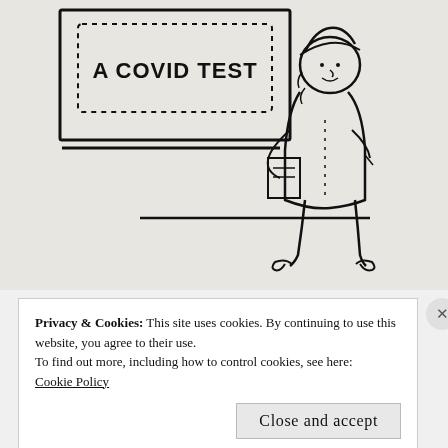[Figure (illustration): A cartoon/comic panel on a light beige background. On the left side is a board or sign with dotted border containing the text 'A COVID TEST'. On the right side stands a cartoon figure of a person (appears to be a doctor or official) wearing a hat, holding a clipboard or papers, looking at the sign. Below the board are two horizontal lines suggesting a floor or surface.]
Privacy & Cookies: This site uses cookies. By continuing to use this website, you agree to their use.
To find out more, including how to control cookies, see here:
Cookie Policy
Close and accept